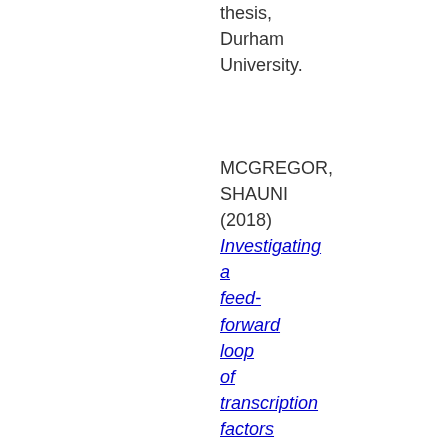thesis, Durham University.
MCGREGOR, SHAUNI (2018) Investigating a feed-forward loop of transcription factors that acts in plant vascular development. Masters